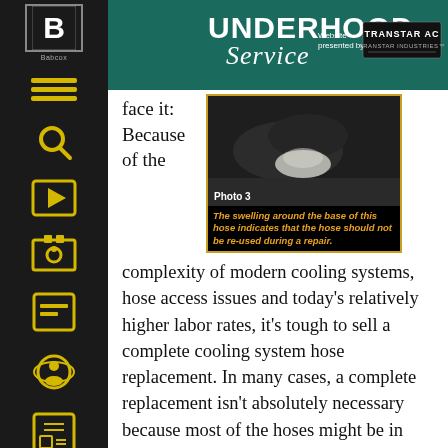UNDERHOOD Service — Website presented by: TRANSTAR AC TRANSTAR INDUSTRIES
[Figure (photo): Photo 3: A close-up of a swollen hose base with caption: The swelling around the base of this hose indicates that the hose should not be re-used during a repair.]
face it: Because of the complexity of modern cooling systems, hose access issues and today's relatively higher labor rates, it's tough to sell a complete cooling system hose replacement. In many cases, a complete replacement isn't absolutely necessary because most of the hoses might be in good condition. On the other hand, if a component like a heater core, water pump, radiator or engine is being removed or replaced, the only significant cost to the consumer is the cost of the hoses themselves.
Keep in mind that re-clamping an old, hardened hose brings with it a potential liability issue. If